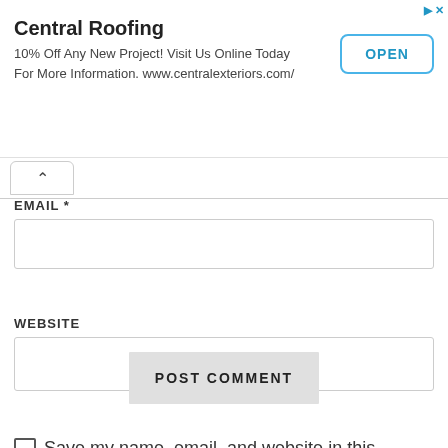[Figure (screenshot): Advertisement banner for Central Roofing with title, description, and OPEN button]
Central Roofing
10% Off Any New Project! Visit Us Online Today For More Information. www.centralexteriors.com/
OPEN
EMAIL *
WEBSITE
Save my name, email, and website in this browser for the next time I comment.
POST COMMENT